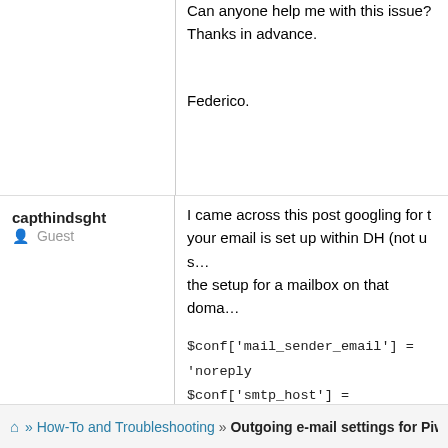Can anyone help me with this issue?
Thanks in advance.

Federico.
capthindsght
Guest
I came across this post googling for t... your email is set up within DH (not u... the setup for a mailbox on that doma...
$conf['mail_sender_email'] = 'noreply...
$conf['smtp_host'] = 'mail.domain.co...
$conf['smtp_user'] = 'email@domain....
$conf['smtp_password'] = 'email_pas...
Make sure that you can log in to that... to confirm your settings.
» How-To and Troubleshooting » Outgoing e-mail settings for Piwigo SMT...